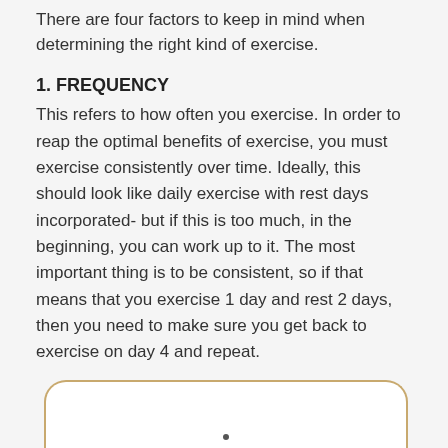There are four factors to keep in mind when determining the right kind of exercise.
1. FREQUENCY
This refers to how often you exercise. In order to reap the optimal benefits of exercise, you must exercise consistently over time. Ideally, this should look like daily exercise with rest days incorporated- but if this is too much, in the beginning, you can work up to it. The most important thing is to be consistent, so if that means that you exercise 1 day and rest 2 days, then you need to make sure you get back to exercise on day 4 and repeat.
[Figure (illustration): Bottom portion of a mobile device with gold/tan rounded border, white background, visible at the bottom of the page]